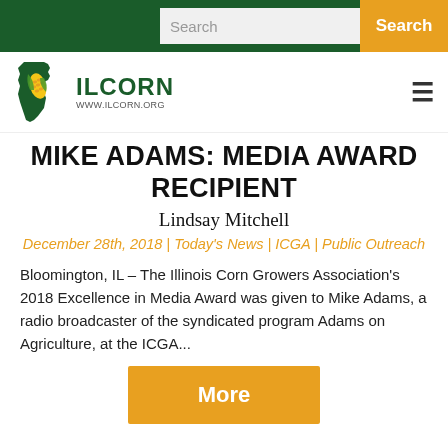Search | Search button
[Figure (logo): IL Corn logo with Illinois state shape and corn graphic, www.ilcorn.org]
MIKE ADAMS: MEDIA AWARD RECIPIENT
Lindsay Mitchell
December 28th, 2018 | Today's News | ICGA | Public Outreach
Bloomington, IL – The Illinois Corn Growers Association's 2018 Excellence in Media Award was given to Mike Adams, a radio broadcaster of the syndicated program Adams on Agriculture, at the ICGA...
More